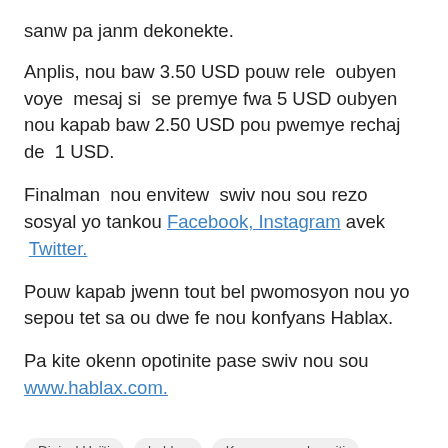sanw pa janm dekonekte.
Anplis, nou baw 3.50 USD pouw rele  oubyen voye  mesaj si  se premye fwa 5 USD oubyen nou kapab baw 2.50 USD pou pwemye rechaj de  1 USD.
Finalman  nou envitew  swiv nou sou rezo sosyal yo tankou Facebook, Instagram avek  Twitter.
Pouw kapab jwenn tout bel pwomosyon nou yo sepou tet sa ou dwe fe nou konfyans Hablax.
Pa kite okenn opotinite pase swiv nou sou www.hablax.com.
Digicel Haïti
hablax
Komanpou rele ayiti